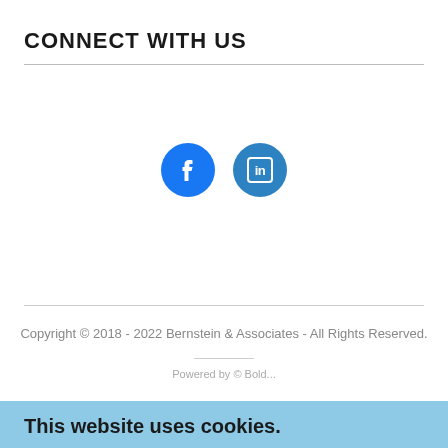CONNECT WITH US
[Figure (illustration): Two circular social media icons side by side: Facebook (blue circle with white 'f') and LinkedIn (blue circle with white 'in' logo)]
Copyright © 2018 - 2022 Bernstein & Associates - All Rights Reserved.
This website uses cookies.